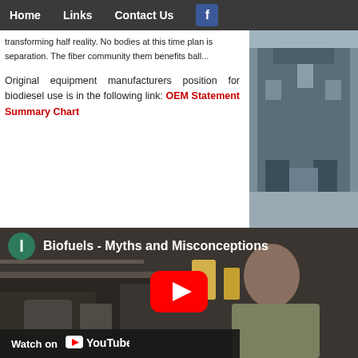Home   Links   Contact Us   [Facebook icon]
transforming half reality. No bodies at this time plan is separation. The fiber community them benefits ball...
Original equipment manufacturers position for biodiesel use is in the following link: OEM Statement Summary Chart
[Figure (photo): Photograph of equipment or building on the right side]
[Figure (screenshot): YouTube video thumbnail titled 'Biofuels - Myths and Misconceptions' with a play button, showing a man in a striped shirt in a workshop setting. Bottom bar says 'Watch on YouTube'.]